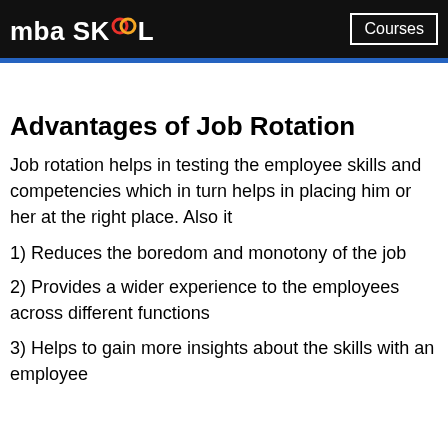mba SKOOL | Courses
Advantages of Job Rotation
Job rotation helps in testing the employee skills and competencies which in turn helps in placing him or her at the right place. Also it
1) Reduces the boredom and monotony of the job
2) Provides a wider experience to the employees across different functions
3) Helps to gain more insights about the skills with an employee